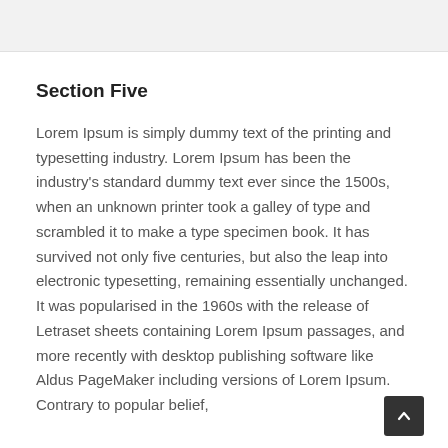Section Five
Lorem Ipsum is simply dummy text of the printing and typesetting industry. Lorem Ipsum has been the industry's standard dummy text ever since the 1500s, when an unknown printer took a galley of type and scrambled it to make a type specimen book. It has survived not only five centuries, but also the leap into electronic typesetting, remaining essentially unchanged. It was popularised in the 1960s with the release of Letraset sheets containing Lorem Ipsum passages, and more recently with desktop publishing software like Aldus PageMaker including versions of Lorem Ipsum. Contrary to popular belief,